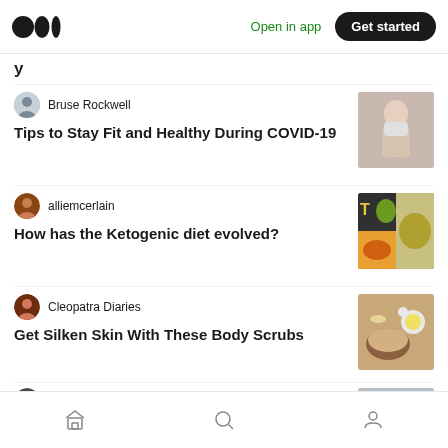[Figure (screenshot): Medium app logo - three overlapping circles]
Open in app
Get started
Bruse Rockwell
Tips to Stay Fit and Healthy During COVID-19
[Figure (photo): Woman wearing a face mask]
alliemcerlain
How has the Ketogenic diet evolved?
[Figure (photo): Collage of ketogenic food items and a person]
Cleopatra Diaries
Get Silken Skin With These Body Scrubs
[Figure (photo): Body scrub products with flowers]
Murray Kovesy